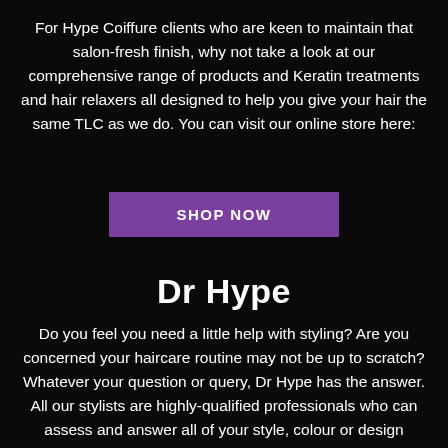For Hype Coiffure clients who are keen to maintain that salon-fresh finish, why not take a look at our comprehensive range of products and Keratin treatments and hair relaxers all designed to help you give your hair the same TLC as we do. You can visit our online store here:
[Figure (other): Purple button with white bold text reading SHOP NOW]
Dr Hype
Do you feel you need a little help with styling? Are you concerned your haircare routine may not be up to scratch? Whatever your question or query, Dr Hype has the answer. All our stylists are highly-qualified professionals who can assess and answer all of your style, colour or design